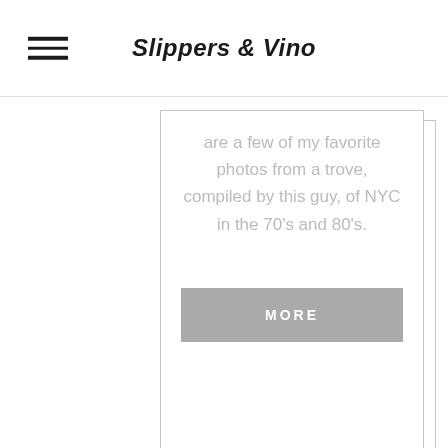Slippers & Vino
are a few of my favorite photos from a trove, compiled by this guy, of NYC in the 70’s and 80’s.
MORE